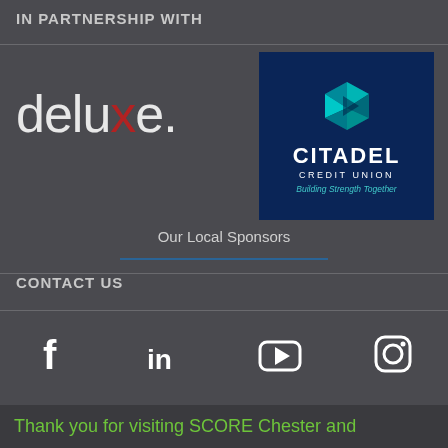IN PARTNERSHIP WITH
[Figure (logo): Deluxe logo in white/light text with red X letter]
[Figure (logo): Citadel Credit Union logo on dark navy background with teal geometric icon and tagline 'Building Strength Together']
Our Local Sponsors
CONTACT US
[Figure (infographic): Social media icons row: Facebook, LinkedIn, YouTube, Instagram]
Thank you for visiting SCORE Chester and